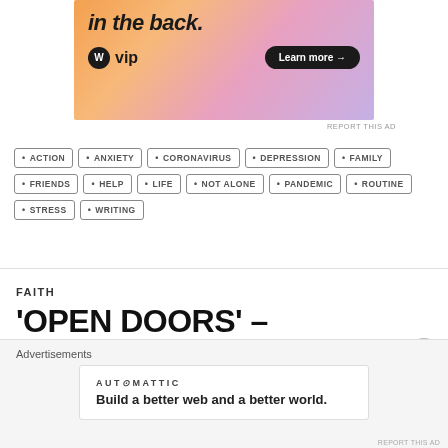[Figure (screenshot): WordPress VIP advertisement banner with gradient background (orange to purple), text 'in the back.', WP VIP logo, and 'Learn more →' button]
REPORT THIS AD
ACTION
ANXIETY
CORONAVIRUS
DEPRESSION
FAMILY
FRIENDS
HELP
LIFE
NOT ALONE
PANDEMIC
ROUTINE
STRESS
WRITING
FAITH
'OPEN DOORS' – CHRISTIANS IN SUDAN
Advertisements
[Figure (screenshot): Automattic advertisement: 'Build a better web and a better world.']